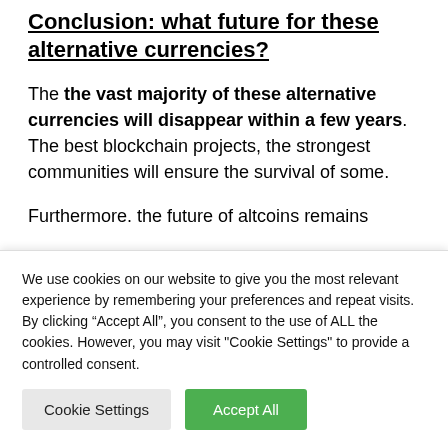Conclusion: what future for these alternative currencies?
The the vast majority of these alternative currencies will disappear within a few years. The best blockchain projects, the strongest communities will ensure the survival of some.
Furthermore. the future of altcoins remains
We use cookies on our website to give you the most relevant experience by remembering your preferences and repeat visits. By clicking “Accept All”, you consent to the use of ALL the cookies. However, you may visit "Cookie Settings" to provide a controlled consent.